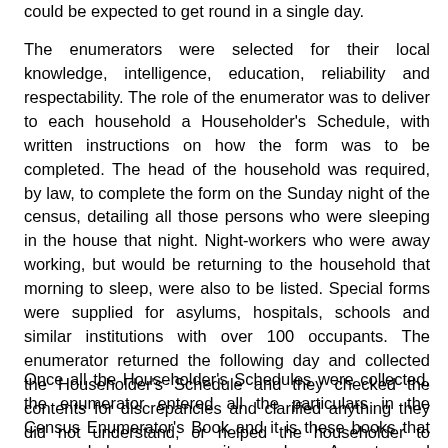could be expected to get round in a single day.
The enumerators were selected for their local knowledge, intelligence, education, reliability and respectability. The role of the enumerator was to deliver to each household a Householder's Schedule, with written instructions on how the form was to be completed. The head of the household was required, by law, to complete the form on the Sunday night of the census, detailing all those persons who were sleeping in the house that night. Night-workers who were away working, but would be returning to the household that morning to sleep, were also to be listed. Special forms were supplied for asylums, hospitals, schools and similar institutions with over 100 occupants. The enumerator returned the following day and collected the Householder's Schedule and they checked the contents for discrepancies and clarified anything they did not understand, or helped the householder to complete the Schedule, for example if they could not read or write.
Once all the Householder's Schedules were collected, the enumerator entered all the particulars in the Census Enumerator's Book and it is these books that we regularly search on sites such as Ancestry and FindMypast. Both sets of documents were then submitted for checking